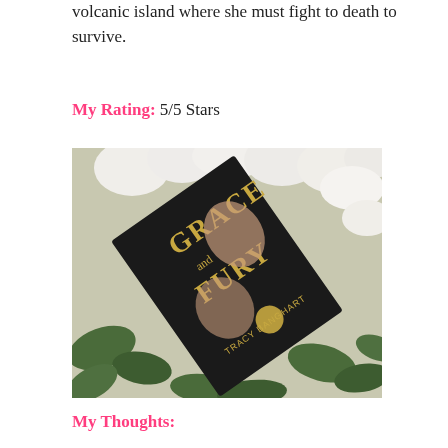volcanic island where she must fight to death to survive.
My Rating: 5/5 Stars
[Figure (photo): A book titled 'Grace and Fury' by Tracy Banghart, photographed lying on a bed of white flowers and green leaves.]
My Thoughts: